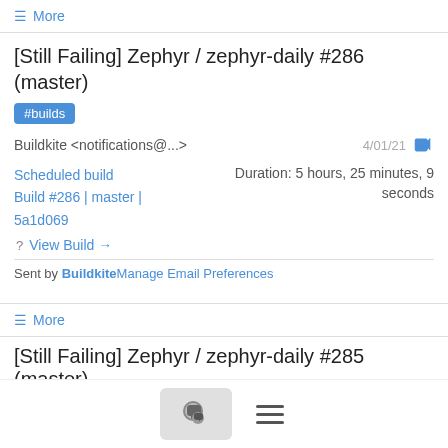≡ More
[Still Failing] Zephyr / zephyr-daily #286 (master)
#builds
Buildkite <notifications@...>   4/01/21
Scheduled build
Build #286 | master | 5a1d069
Duration: 5 hours, 25 minutes, 9 seconds
? View Build →
Sent by Buildkite Manage Email Preferences
≡ More
[Still Failing] Zephyr / zephyr-daily #285 (master)
#builds
Buildkite <notifications@...>   3/01/21